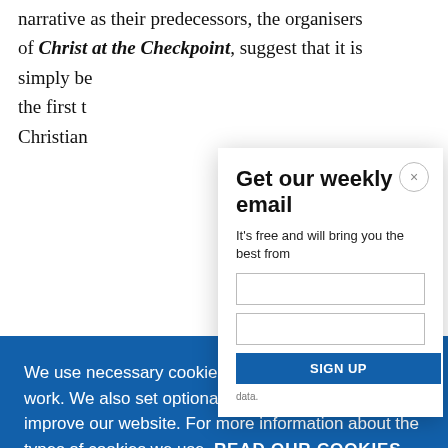narrative as their predecessors, the organisers of Christ at the Checkpoint, suggest that it is simply be... the first t... Christian...
[Figure (screenshot): Email signup popup overlay with title 'Get our weekly email', subtitle 'It's free and will bring you the best from', a close button (x), input fields, and a sign-up button.]
[Figure (screenshot): Cookie consent banner overlay in blue background with text about cookies, a 'READ OUR COOKIES POLICY HERE' link, and two buttons: 'COOKIE SETTINGS' and 'ALLOW ALL COOKIES'.]
To me th...